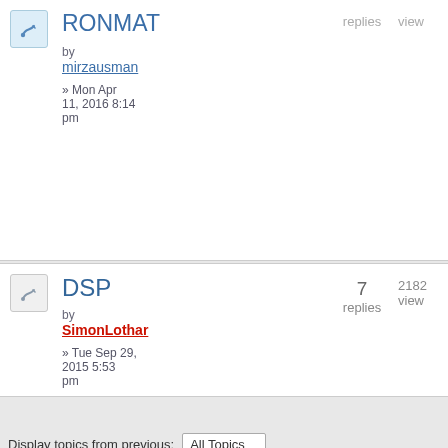| Topic | Replies | Views |
| --- | --- | --- |
| RONMAT
by mirzausman
» Mon Apr 11, 2016 8:14 pm | replies | view |
| DSP
by SimonLothar
» Tue Sep 29, 2015 5:53 pm | 7 replies | 2182 view |
Display topics from previous: All Topics
Post a new topic
◄ Return to Board index
Who is online
Users browsing this forum: No registered use